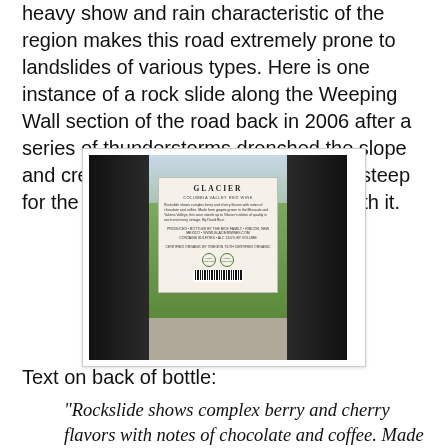heavy show and rain characteristic of the region makes this road extremely prone to landslides of various types. Here is one instance of a rock slide along the Weeping Wall section of the road back in 2006 after a series of thunderstorms drenched the slope and created a slope that was then too steep for the amount of weight associated with it.
[Figure (photo): Photograph of the back label of a Glacier wine bottle, showing the label text, organic certification logos, and barcode. The bottle is dark green/black, set on a concrete surface with green grass and a blurred garden background.]
Text on back of bottle:
"Rockslide shows complex berry and cherry flavors with notes of chocolate and coffee. Made from grapes grown in the Missoula and Yakima Valleys, this wine stands up to Glacier's arbiter of